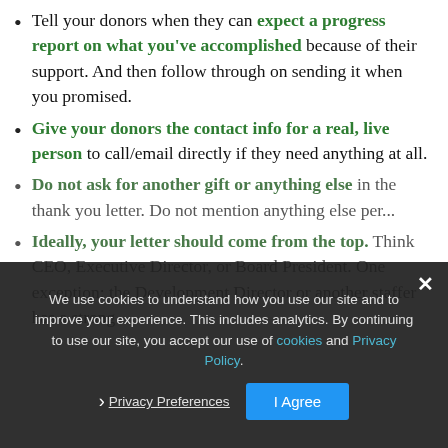Tell your donors when they can expect a progress report on what you've accomplished because of their support. And then follow through on sending it when you promised.
Give your donors the contact info for a real, live person to call/email directly if they need anything at all.
Do not ask for another gift or anything else in the thank you letter. Do not mention anything else per...
Ideally, your letter should come from the top. Think CEO, Executive Director, or Board President. One exception: the Development Director or another staffer has a strong
We use cookies to understand how you use our site and to improve your experience. This includes analytics. By continuing to use our site, you accept our use of cookies and Privacy Policy. [Privacy Preferences] [I Agree]